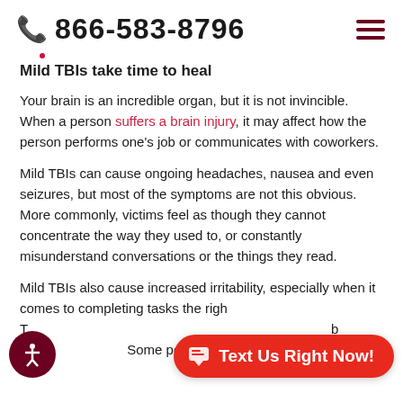866-583-8796
Mild TBIs take time to heal
Your brain is an incredible organ, but it is not invincible. When a person suffers a brain injury, it may affect how the person performs one's job or communicates with coworkers.
Mild TBIs can cause ongoing headaches, nausea and even seizures, but most of the symptoms are not this obvious. More commonly, victims feel as though they cannot concentrate the way they used to, or constantly misunderstand conversations or the things they read.
Mild TBIs also cause increased irritability, especially when it comes to completing tasks the right way. Victims of mild TBIs find that they cannot focus on the task at hand because of this frustration. Some people around the victim, or